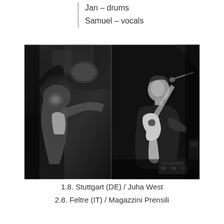Jan – drums
Samuel – vocals
[Figure (photo): Two black and white performance photos side by side: left photo shows a person with long hair bending forward intensely at a concert; right photo shows a guitarist playing a white electric guitar on stage with a microphone.]
1.8. Stuttgart (DE) / Juha West
2.8. Feltre (IT) / Magazzini Prensili